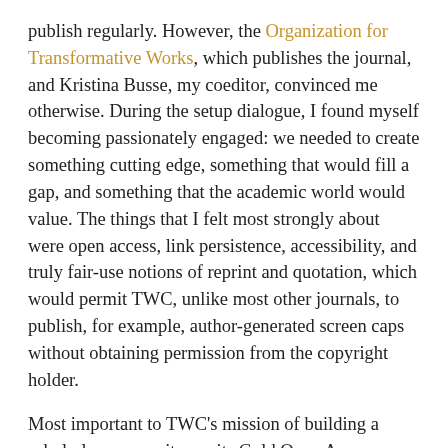publish regularly. However, the Organization for Transformative Works, which publishes the journal, and Kristina Busse, my coeditor, convinced me otherwise. During the setup dialogue, I found myself becoming passionately engaged: we needed to create something cutting edge, something that would fill a gap, and something that the academic world would value. The things that I felt most strongly about were open access, link persistence, accessibility, and truly fair-use notions of reprint and quotation, which would permit TWC, unlike most other journals, to publish, for example, author-generated screen caps without obtaining permission from the copyright holder.
Most important to TWC's mission of building a scholarly community are its Gold Open Access status and its Creative Commons copyright [1], which work hand in hand to permit accessibility. Authors have to sign copyright over to TWC [2], but the copyright permits the document to be freely reprinted as long as proper citation and the document are reproduced together.